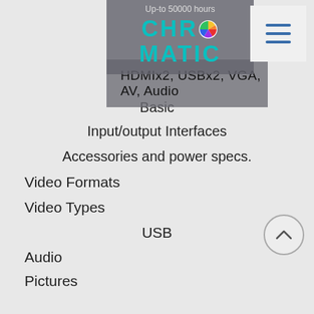Up-to 50000 hours
[Figure (logo): CHROMATIC logo in teal/cyan color with a colorful pinwheel dot replacing the O]
HDMIx2, USBx2, VGA, AV, Audio
Basic
Input/output Interfaces
Accessories and power specs.
Video Formats
Video Types
USB
Audio
Pictures
MPEG, MPG, AVI, MP4, XVID
DAT, RM, RMVB, DIVX, H.264, Supports 720p & 1080p
Mp3, AV
JPEG, JPG